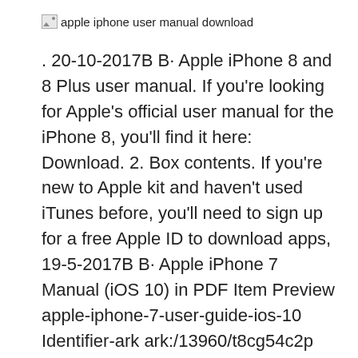[Figure (other): Broken image placeholder with alt text 'apple iphone user manual download']
. 20-10-2017B B· Apple iPhone 8 and 8 Plus user manual. If you're looking for Apple's official user manual for the iPhone 8, you'll find it here: Download. 2. Box contents. If you're new to Apple kit and haven't used iTunes before, you'll need to sign up for a free Apple ID to download apps, 19-5-2017B B· Apple iPhone 7 Manual (iOS 10) in PDF Item Preview apple-iphone-7-user-guide-ios-10 Identifier-ark ark:/13960/t8cg54c2p Ocr ABBYY FineReader 11.0 Pages 586 Ppi 300 Scanner Internet Archive HTML5 Uploader 1.6.3. SINGLE PAGE PROCESSED JP2 ZIP download.